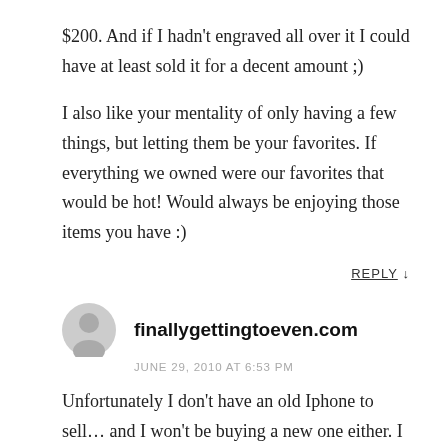$200. And if I hadn't engraved all over it I could have at least sold it for a decent amount ;)
I also like your mentality of only having a few things, but letting them be your favorites. If everything we owned were our favorites that would be hot! Would always be enjoying those items you have :)
REPLY ↓
finallygettingtoeven.com
JUNE 29, 2010 AT 6:53 PM
Unfortunately I don't have an old Iphone to sell… and I won't be buying a new one either. I guess I just don't need to be 'in touch' with everything and